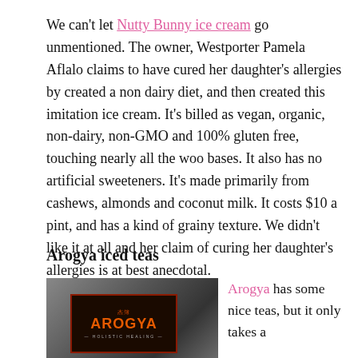We can't let Nutty Bunny ice cream go unmentioned. The owner, Westporter Pamela Aflalo claims to have cured her daughter's allergies by created a non dairy diet, and then created this imitation ice cream. It's billed as vegan, organic, non-dairy, non-GMO and 100% gluten free, touching nearly all the woo bases. It also has no artificial sweeteners. It's made primarily from cashews, almonds and coconut milk. It costs $10 a pint, and has a kind of grainy texture. We didn't like it at all and her claim of curing her daughter's allergies is at best anecdotal.
Arogya iced teas
[Figure (photo): Photo of an Arogya tea box with Chinese characters and orange text reading AROGYA HOLISTIC HEALING on a dark background]
Arogya has some nice teas, but it only takes a